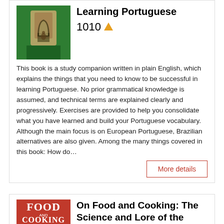Learning Portuguese
1010
This book is a study companion written in plain English, which explains the things that you need to know to be successful in learning Portuguese. No prior grammatical knowledge is assumed, and technical terms are explained clearly and progressively. Exercises are provided to help you consolidate what you have learned and build your Portuguese vocabulary. Although the main focus is on European Portuguese, Brazilian alternatives are also given. Among the many things covered in this book: How do…
More details
On Food and Cooking: The Science and Lore of the Kitchen
998